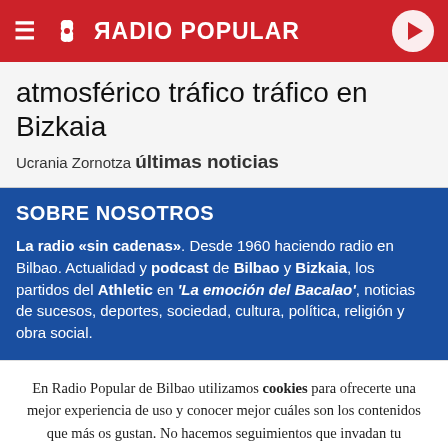RADIO POPULAR
atmosférico tráfico tráfico en Bizkaia
Ucrania Zornotza últimas noticias
SOBRE NOSOTROS
La radio «sin cadenas». Desde 1960 haciendo radio en Bilbao. Actualidad y podcast de Bilbao y Bizkaia, los partidos del Athletic en 'La emoción del Bacalao', noticias de sucesos, deportes, sociedad, cultura, política, religión y obra social.
En Radio Popular de Bilbao utilizamos cookies para ofrecerte una mejor experiencia de uso y conocer mejor cuáles son los contenidos que más os gustan. No hacemos seguimientos que invadan tu privacidad ni ofrecemos publicidad personalizada según tu navegación. Al hacer clic en 'Aceptar todo', aceptas el uso de TODAS las cookies.
Rechazar y salir | Aceptar todas y continuar | Leer más